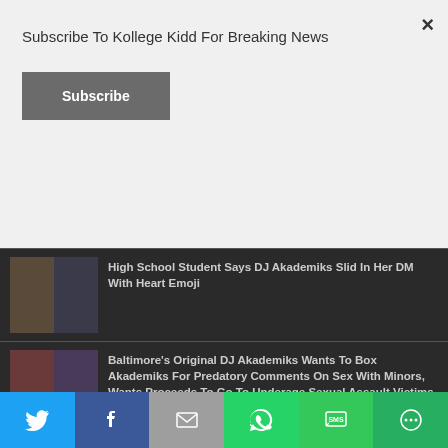Subscribe To Kollege Kidd For Breaking News
Subscribe
High School Student Says DJ Akademiks Slid In Her DM With Heart Emoji
Baltimore's Original DJ Akademiks Wants To Box Akademiks For Predatory Comments On Sex With Minors, Wants Proceeds To Go To Underage Sexual Assault Victims
DJ Akademiks Speaks On Sex With Underage Girls